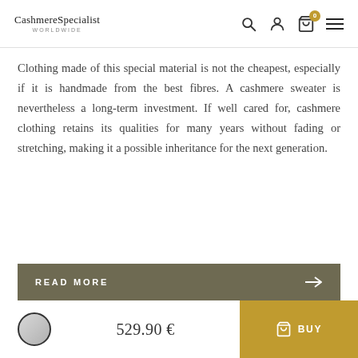CashmereSpecialist WORLDWIDE
Clothing made of this special material is not the cheapest, especially if it is handmade from the best fibres. A cashmere sweater is nevertheless a long-term investment. If well cared for, cashmere clothing retains its qualities for many years without fading or stretching, making it a possible inheritance for the next generation.
READ MORE →
529.90 € BUY